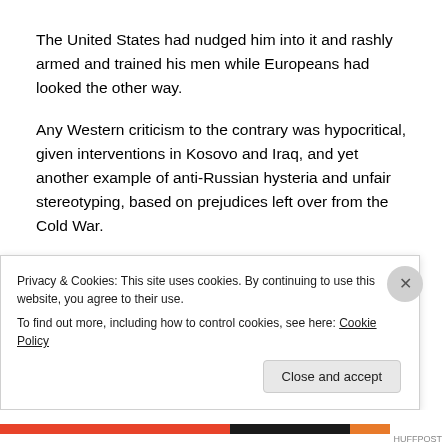The United States had nudged him into it and rashly armed and trained his men while Europeans had looked the other way.
Any Western criticism to the contrary was hypocritical, given interventions in Kosovo and Iraq, and yet another example of anti-Russian hysteria and unfair stereotyping, based on prejudices left over from the Cold War.
Red line
(partial, obscured by cookie banner)
Privacy & Cookies: This site uses cookies. By continuing to use this website, you agree to their use.
To find out more, including how to control cookies, see here: Cookie Policy